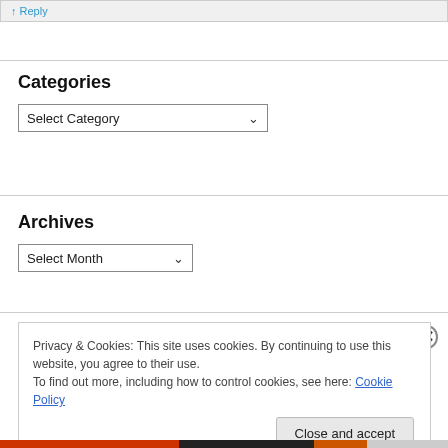↑ Reply
Categories
Select Category
Archives
Select Month
Privacy & Cookies: This site uses cookies. By continuing to use this website, you agree to their use.
To find out more, including how to control cookies, see here: Cookie Policy
Close and accept